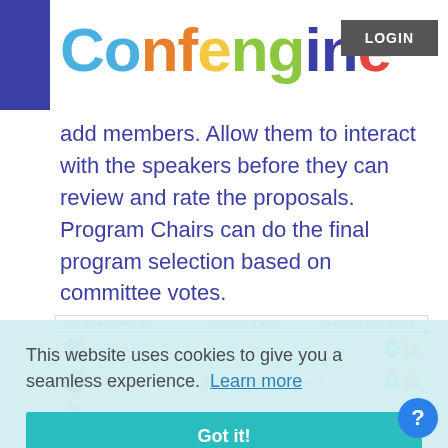Confengine LOGIN
add members. Allow them to interact with the speakers before they can review and rate the proposals. Program Chairs can do the final program selection based on committee votes.
[Figure (screenshot): Program committee management UI showing list of members (Leena S N, Jutta Eckstein) with roles (Chair, Reviewer), visibility (Public), and approve/reject actions (green and orange circles). Columns: Program Committee, New Applicants, Rejected Applicants.]
This website uses cookies to give you a seamless experience. Learn more
Got it!